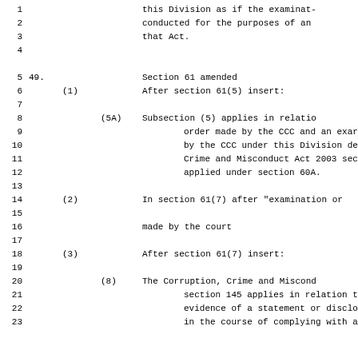1    this Division as if the examinat-
2    conducted for the purposes of an
3    that Act.
5    49.    Section 61 amended
6           (1)    After section 61(5) insert:
8                  (5A)   Subsection (5) applies in relatio
9                         order made by the CCC and an exar
10                        by the CCC under this Division de
11                        Crime and Misconduct Act 2003 sec
12                        applied under section 60A.
14          (2)    In section 61(7) after "examination or
16                 made by the court
18          (3)    After section 61(7) insert:
20                 (8)    The Corruption, Crime and Miscond
21                        section 145 applies in relation t
22                        evidence of a statement or disclo
23                        in the course of complying with a